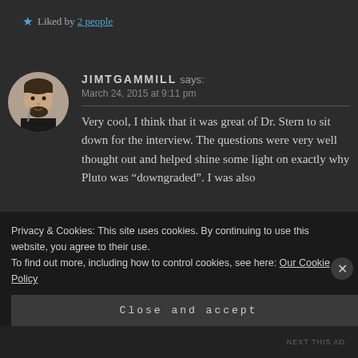Liked by 2 people
JIMTGAMMILL says: March 24, 2015 at 9:11 pm
[Figure (photo): Circular avatar photo of a man in a dark t-shirt with a beard]
Very cool, I think that it was great of Dr. Stern to sit down for the interview. The questions were very well thought out and helped shine some light on exactly why Pluto was “downgraded”. I was also
Privacy & Cookies: This site uses cookies. By continuing to use this website, you agree to their use. To find out more, including how to control cookies, see here: Our Cookie Policy
Close and accept